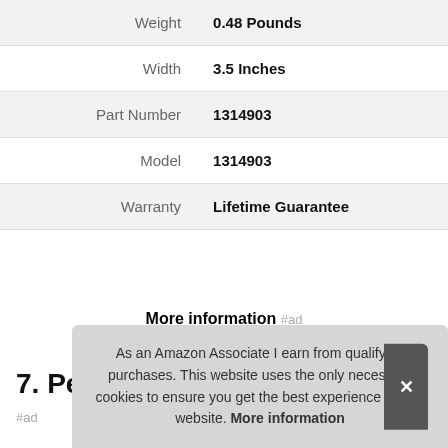|  |  |
| --- | --- |
| Weight | 0.48 Pounds |
| Width | 3.5 Inches |
| Part Number | 1314903 |
| Model | 1314903 |
| Warranty | Lifetime Guarantee |
More information #ad
7. Personalized Gifts
#ad
As an Amazon Associate I earn from qualifying purchases. This website uses the only necessary cookies to ensure you get the best experience on our website. More information